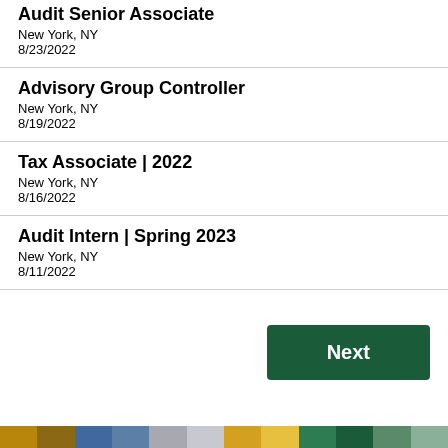Audit Senior Associate
New York, NY
8/23/2022
Advisory Group Controller
New York, NY
8/19/2022
Tax Associate | 2022
New York, NY
8/16/2022
Audit Intern | Spring 2023
New York, NY
8/11/2022